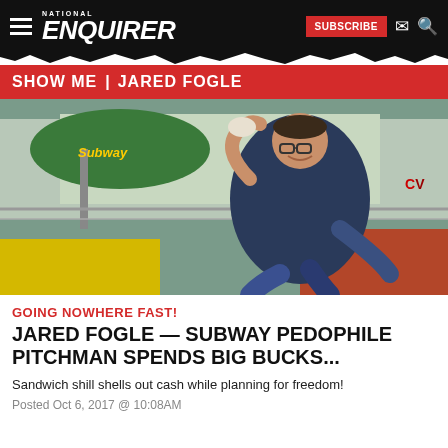NATIONAL ENQUIRER — SUBSCRIBE
SHOW ME | JARED FOGLE
[Figure (photo): Man in dark blue shirt posing energetically outdoors in front of a Subway restaurant with green umbrella and yellow signage]
GOING NOWHERE FAST!
JARED FOGLE — SUBWAY PEDOPHILE PITCHMAN SPENDS BIG BUCKS...
Sandwich shill shells out cash while planning for freedom!
Posted Oct 6, 2017 @ 10:08AM